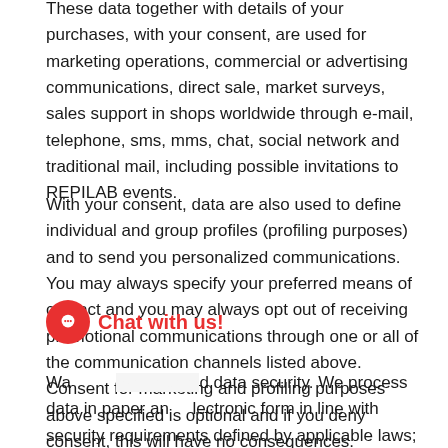These data together with details of your purchases, with your consent, are used for marketing operations, commercial or advertising communications, direct sale, market surveys, sales support in shops worldwide through e-mail, telephone, sms, mms, chat, social network and traditional mail, including possible invitations to REPILAB events.
With your consent, data are also used to define individual and group profiles (profiling purposes) and to send you personalized communications. You may always specify your preferred means of contact and you may always opt out of receiving promotional communications through one or all of the communication channels listed above. Consent for marketing and profiling purposes above specified is optional and if you deny consent, this will have no consequences.
Ways of [obscured] and data security. We process data in paper and electronic form in line with security requirements defined by applicable laws; our data processors below specified